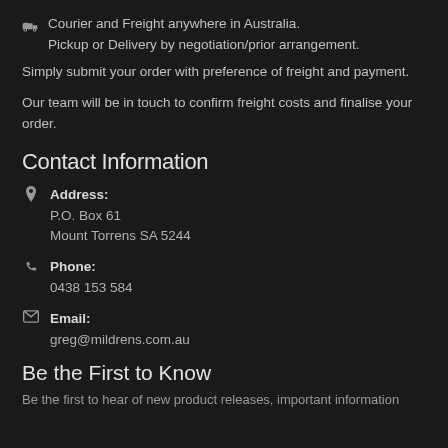Courier and Freight anywhere in Australia. Pickup or Delivery by negotiation/prior arrangement.
Simply submit your order with preference of freight and payment.
Our team will be in touch to confirm freight costs and finalise your order.
Contact Information
Address: P.O. Box 61 Mount Torrens SA 5244
Phone: 0438 153 584
Email: greg@mildrens.com.au
Be the First to Know
Be the first to hear of new product releases, important information